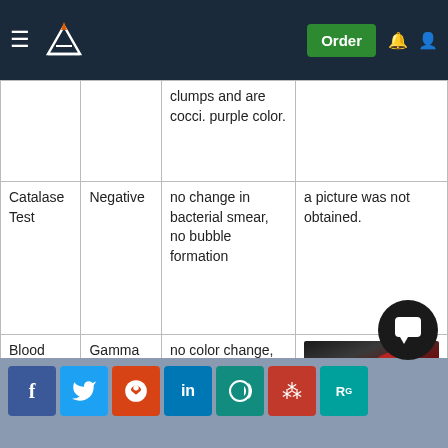Navigation bar with logo and Order button
| Test | Result | Observation | Image |
| --- | --- | --- | --- |
|  |  | clumps and are cocci. purple color. |  |
| Catalase Test | Negative | no change in bacterial smear, no bubble formation | a picture was not obtained. |
| Blood Agar Test | Gamma hemolysis | no color change, no clearing around the streak | [image] |
Social sharing bar: Facebook, Twitter, Reddit, LinkedIn, WhatsApp, Mendeley, ResearchGate